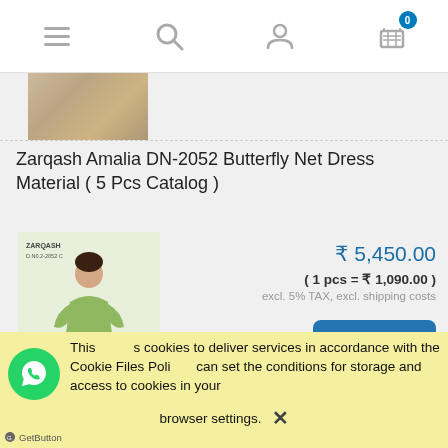[Figure (screenshot): Mobile e-commerce navigation bar with hamburger menu, search icon, user icon, and shopping cart with badge showing 0]
[Figure (photo): Product thumbnail image partially visible at top of page]
Zarqash Amalia DN-2052 Butterfly Net Dress Material ( 5 Pcs Catalog )
[Figure (photo): Green butterfly net dress material product image with ZARQASH brand label, model wearing long green dress]
₹ 5,450.00
( 1 pcs = ₹ 1,090.00 )
excl. 5% TAX, excl. shipping costs
order now
This site uses cookies to deliver services in accordance with the Cookie Files Policy. You can set the conditions for storage and access to cookies in your browser settings. ✕